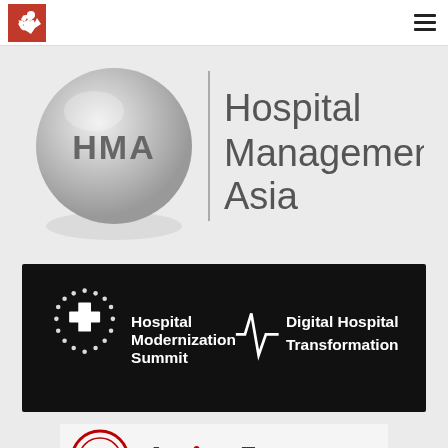Hospital Management Asia navigation header
[Figure (logo): HMA Hospital Management Asia logo — silver globe with HMA letters and vertical bar with text 'Hospital Management Asia']
[Figure (logo): Hospital Modernization Summit | Digital Hospital Transformation logo on black background with cross icon and heartbeat line]
[Figure (logo): Asia IoT logo — partial view at bottom of page]